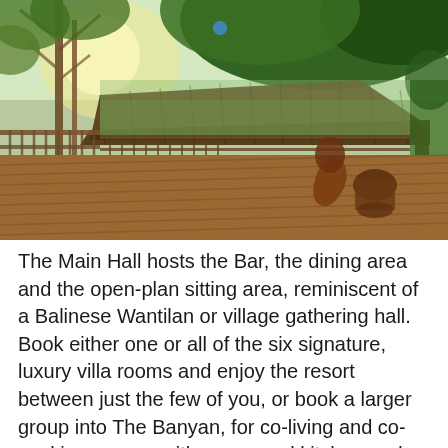[Figure (photo): Outdoor wooden deck of a Balinese-style resort main hall with thatched roof, lush green trees, rustic wooden furniture including a chair and table, and a railing overlooking greenery.]
The Main Hall hosts the Bar, the dining area and the open-plan sitting area, reminiscent of a Balinese Wantilan or village gathering hall. Book either one or all of the six signature, luxury villa rooms and enjoy the resort between just the few of you, or book a larger group into The Banyan, for co-living and co-working spaces with communal kitchen and living